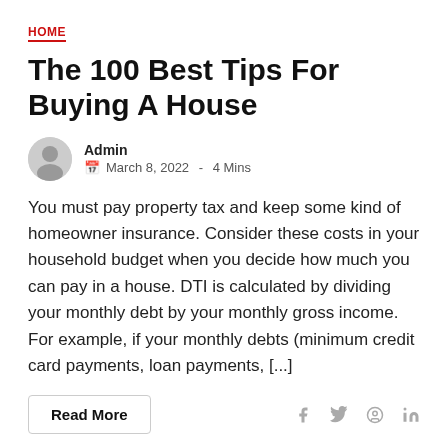HOME
The 100 Best Tips For Buying A House
Admin
March 8, 2022  -  4 Mins
You must pay property tax and keep some kind of homeowner insurance. Consider these costs in your household budget when you decide how much you can pay in a house. DTI is calculated by dividing your monthly debt by your monthly gross income. For example, if your monthly debts (minimum credit card payments, loan payments, [...]
Read More